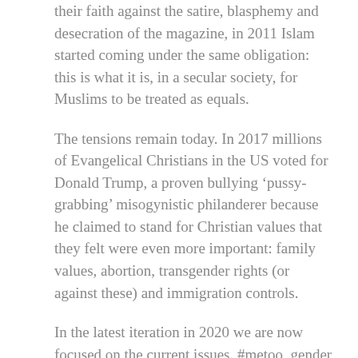their faith against the satire, blasphemy and desecration of the magazine, in 2011 Islam started coming under the same obligation: this is what it is, in a secular society, for Muslims to be treated as equals.
The tensions remain today. In 2017 millions of Evangelical Christians in the US voted for Donald Trump, a proven bullying ‘pussy-grabbing’ misogynistic philanderer because he claimed to stand for Christian values that they felt were even more important: family values, abortion, transgender rights (or against these) and immigration controls.
In the latest iteration in 2020 we are now focused on the current issues. #metoo, gender pay gaps, George Floyd, racism , feminism and the patriarchy. Any condemnation of Christianity as patriarchal and repressive derives from the framework of values that is itself is utterly Christian.